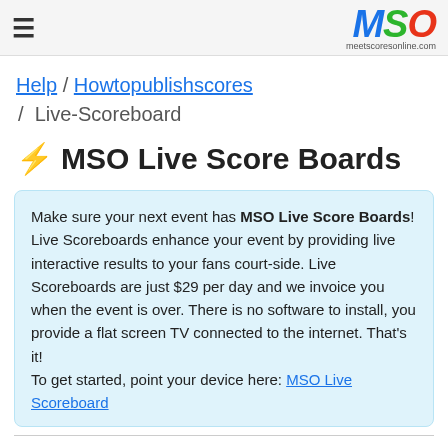MSO meetscoresonline.com
Help / Howtopublishscores / Live-Scoreboard
MSO Live Score Boards
Make sure your next event has MSO Live Score Boards! Live Scoreboards enhance your event by providing live interactive results to your fans court-side. Live Scoreboards are just $29 per day and we invoice you when the event is over. There is no software to install, you provide a flat screen TV connected to the internet. That's it!
To get started, point your device here: MSO Live Scoreboard